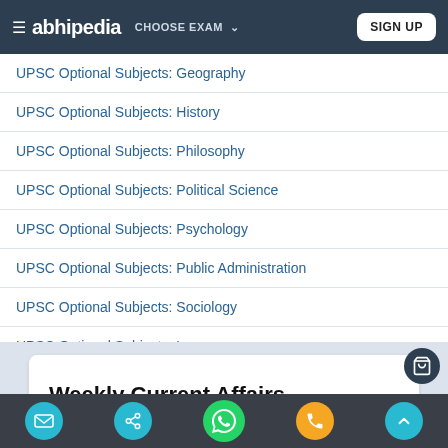abhiipedia CHOOSE EXAM SIGN UP
UPSC Optional Subjects: Geography
UPSC Optional Subjects: History
UPSC Optional Subjects: Philosophy
UPSC Optional Subjects: Political Science
UPSC Optional Subjects: Psychology
UPSC Optional Subjects: Public Administration
UPSC Optional Subjects: Sociology
UPSC Optional Subjects: Law
Study Material
Pre Punch For IAS
Weekly Current Affairs